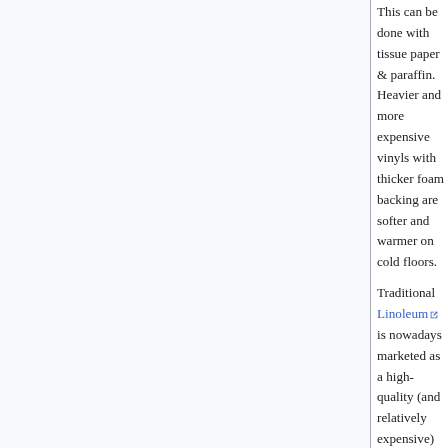This can be done with tissue paper & paraffin. Heavier and more expensive vinyls with thicker foam backing are softer and warmer on cold floors.
Traditional Linoleum is nowadays marketed as a high-quality (and relatively expensive) floor covering which may be chosen for its aesthetic or for its claimed health and environmental benefits. It is available in sheets and tiles, in various colours. They are generally tougher and more resistant to surface damage than vinyls, but more vulnerable to attack by chemicals, particularly oils and solvents. Marmoleum is a brand available in the UK.
Amtico and Karndean are synthetic materials[1] resembling hard vinyls or linos. They are generally tough, hard...